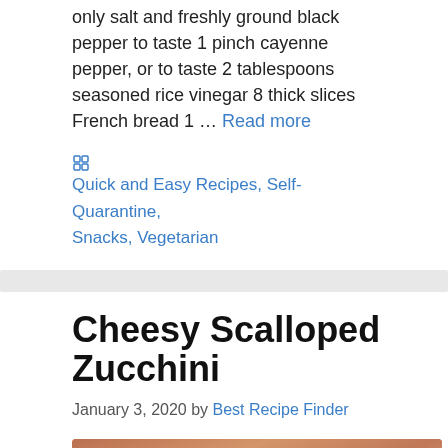only salt and freshly ground black pepper to taste 1 pinch cayenne pepper, or to taste 2 tablespoons seasoned rice vinegar 8 thick slices French bread 1 … Read more
Quick and Easy Recipes, Self-Quarantine, Snacks, Vegetarian
Cheesy Scalloped Zucchini
January 3, 2020 by Best Recipe Finder
[Figure (photo): Close-up photo of what appears to be food being prepared, warm brown and orange tones, hands visible]